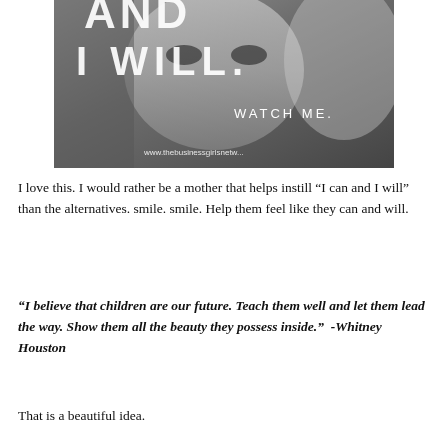[Figure (photo): Black and white close-up photo of a young child's face with large text overlay reading 'AND I WILL.' and smaller text 'WATCH ME.' and website URL www.thebusinessgirlsnetwork]
I love this. I would rather be a mother that helps instill “I can and I will” than the alternatives. smile. smile. Help them feel like they can and will.
“I believe that children are our future. Teach them well and let them lead the way. Show them all the beauty they possess inside.”  -Whitney Houston
That is a beautiful idea.